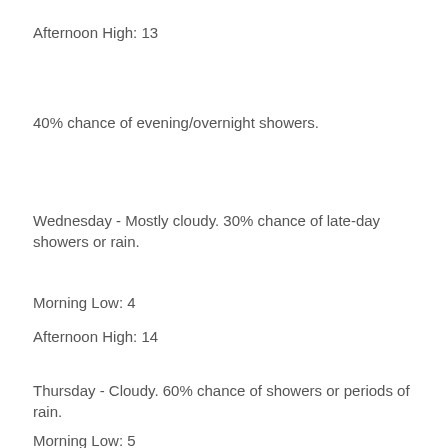Afternoon High: 13
40% chance of evening/overnight showers.
Wednesday - Mostly cloudy. 30% chance of late-day showers or rain.
Morning Low: 4
Afternoon High: 14
Thursday - Cloudy. 60% chance of showers or periods of rain.
Morning Low: 5